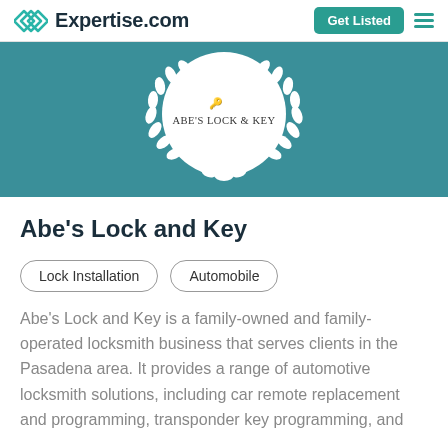Expertise.com
[Figure (logo): Expertise.com logo with teal diamond/overlapping squares icon and bold dark text 'Expertise.com', plus a teal 'Get Listed' button and hamburger menu icon]
[Figure (illustration): Teal banner background with a circular laurel wreath emblem containing the text "ABE'S LOCK & KEY" and a small key icon inside a white circle]
Abe's Lock and Key
Lock Installation
Automobile
Abe's Lock and Key is a family-owned and family-operated locksmith business that serves clients in the Pasadena area. It provides a range of automotive locksmith solutions, including car remote replacement and programming, transponder key programming, and